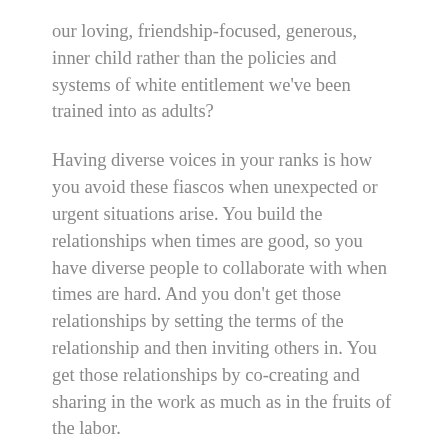our loving, friendship-focused, generous, inner child rather than the policies and systems of white entitlement we've been trained into as adults?
Having diverse voices in your ranks is how you avoid these fiascos when unexpected or urgent situations arise. You build the relationships when times are good, so you have diverse people to collaborate with when times are hard. And you don't get those relationships by setting the terms of the relationship and then inviting others in. You get those relationships by co-creating and sharing in the work as much as in the fruits of the labor.
White people, we can do this. Just take a deep breath, and choose what you'll invest your energy in today.